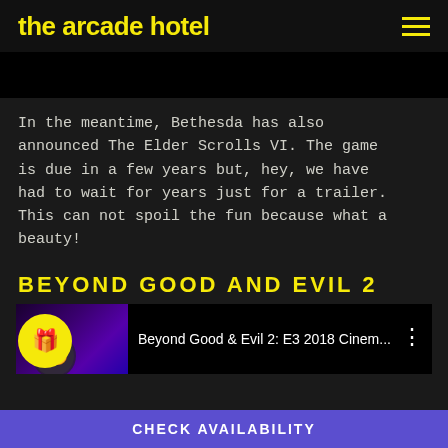the arcade hotel
[Figure (screenshot): Black image/video bar placeholder area]
In the meantime, Bethesda has also announced The Elder Scrolls VI. The game is due in a few years but, hey, we have had to wait for years just for a trailer. This can not spoil the fun because what a beauty!
BEYOND GOOD AND EVIL 2
[Figure (screenshot): Beyond Good & Evil 2: E3 2018 Cinem... video thumbnail with purple background]
CHECK AVAILABILITY